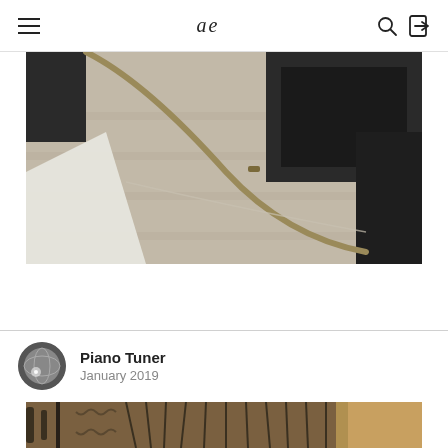ae
[Figure (photo): Close-up overhead view of a curved brass rod or piano string/tuning mechanism on a wooden floor, with black furniture frames and white fabric visible at the edges.]
Piano Tuner
January 2019
[Figure (photo): Partial view of mechanical components, cables and wooden frame — likely interior of a piano, in sepia/warm tones.]